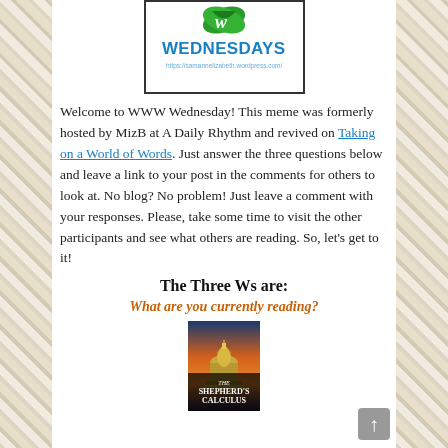[Figure (logo): WWW Wednesdays logo with green leaf, blue bold text 'WEDNESDAYS', and URL https://samannelizabeth.wordpress.com/]
Welcome to WWW Wednesday! This meme was formerly hosted by MizB at A Daily Rhythm and revived on Taking on a World of Words. Just answer the three questions below and leave a link to your post in the comments for others to look at. No blog? No problem! Just leave a comment with your responses. Please, take some time to visit the other participants and see what others are reading. So, let's get to it!
The Three Ws are:
What are you currently reading?
[Figure (photo): Book cover of 'The Shepherd's Calculus' showing the US Capitol building at sunset/dusk]